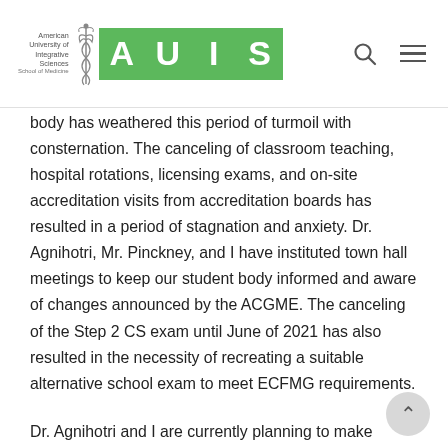American University of Integrative Sciences | AUIS School of Medicine
body has weathered this period of turmoil with consternation. The canceling of classroom teaching, hospital rotations, licensing exams, and on-site accreditation visits from accreditation boards has resulted in a period of stagnation and anxiety. Dr. Agnihotri, Mr. Pinckney, and I have instituted town hall meetings to keep our student body informed and aware of changes announced by the ACGME. The canceling of the Step 2 CS exam until June of 2021 has also resulted in the necessity of recreating a suitable alternative school exam to meet ECFMG requirements.
Dr. Agnihotri and I are currently planning to make available a CS equivalent exam in February 2021 to meet ECFMG requirements. This exam does not replace the necessity that our graduating students